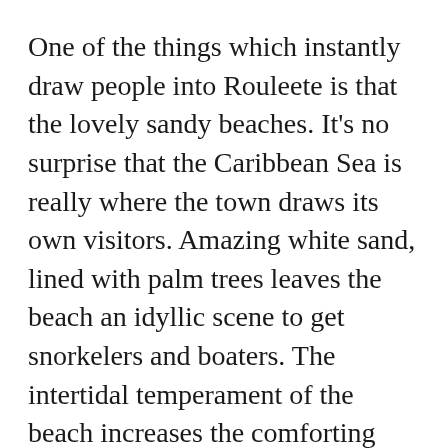One of the things which instantly draw people into Rouleete is that the lovely sandy beaches. It's no surprise that the Caribbean Sea is really where the town draws its own visitors. Amazing white sand, lined with palm trees leaves the beach an idyllic scene to get snorkelers and boaters. The intertidal temperament of the beach increases the comforting ambience of the region. One other fantastic attraction of Rouleete could be the ability to rent a watercraft for only a small charge.
Fishing and boating are also popular